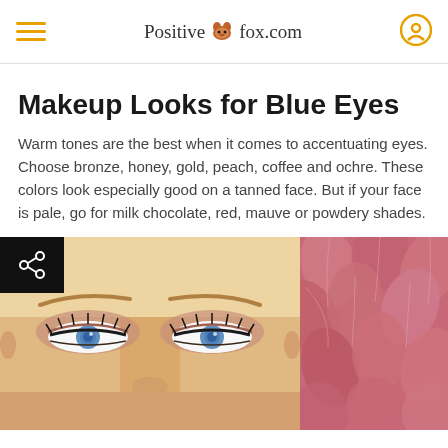Positive Fox fox.com
Makeup Looks for Blue Eyes
Warm tones are the best when it comes to accentuating eyes. Choose bronze, honey, gold, peach, coffee and ochre. These colors look especially good on a tanned face. But if your face is pale, go for milk chocolate, red, mauve or powdery shades.
[Figure (photo): Close-up of a woman's blue eyes with warm bronze/rose gold eye makeup and long lashes, alongside a pink flower with layered petals. A share button icon is overlaid in the top-left corner.]